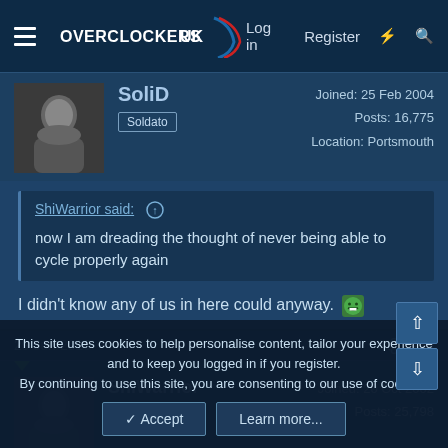Overclockers UK — Log in | Register
SoliD | Soldato | Joined: 25 Feb 2004 | Posts: 16,775 | Location: Portsmouth
ShiWarrior said: ↑
now I am dreading the thought of never being able to cycle properly again
I didn't know any of us in here could anyway. 😬
29 Jun 2016 #19
ShiWarrior | Caporegime | Joined: 20 Oct 2002 | Posts: 25,798
This site uses cookies to help personalise content, tailor your experience and to keep you logged in if you register.
By continuing to use this site, you are consenting to our use of cookies.